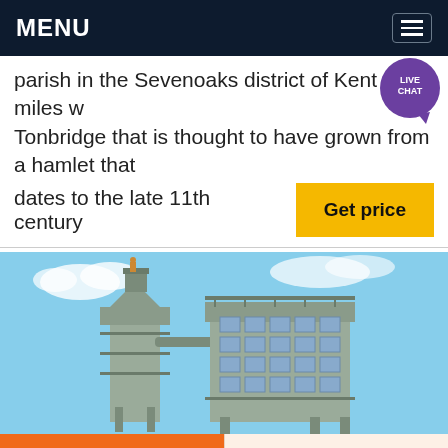MENU
parish in the Sevenoaks district of Kent three miles w... Tonbridge that is thought to have grown from a hamlet that dates to the late 11th century
[Figure (other): Industrial facility with large silos and structural framework against a blue sky]
Get a Quote
WhatsApp